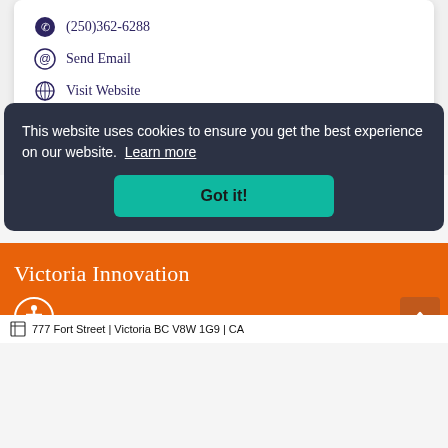(250)362-6288
Send Email
Visit Website
Powered By GrowthZone
Victoria Innovation
777 Fort Street | Victoria BC V8W 1G9 | CA
This website uses cookies to ensure you get the best experience on our website. Learn more
Got it!